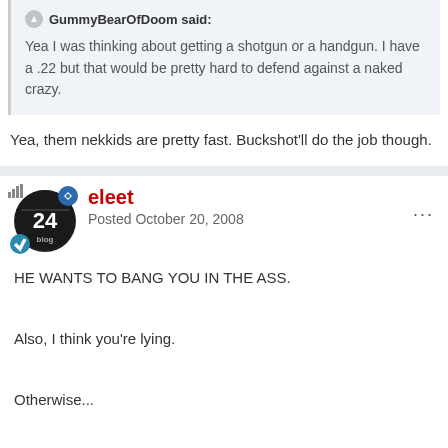GummyBearOfDoom said: Yea I was thinking about getting a shotgun or a handgun. I have a .22 but that would be pretty hard to defend against a naked crazy.
Yea, them nekkids are pretty fast. Buckshot'll do the job though.
eleet
Posted October 20, 2008
HE WANTS TO BANG YOU IN THE ASS.

Also, I think you're lying.

Otherwise...

HE WANTS TO BANG YOU IN THE ASS.

HE WANTS TO BANG YOU IN THE ASS.

HE WANTS TO BANG YOU IN THE ASS.